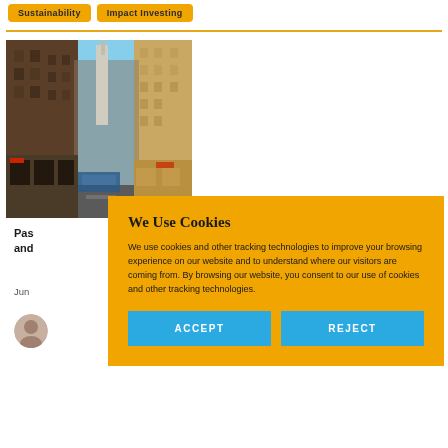Sustainability
Impact Investing
[Figure (photo): City street view looking up between tall buildings with blue sky, urban canyon scene]
Pas... and...
Jun...
[Figure (photo): Author avatar portrait]
We Use Cookies
We use cookies and other tracking technologies to improve your browsing experience on our website and to understand where our visitors are coming from. By browsing our website, you consent to our use of cookies and other tracking technologies.
ACCEPT
REJECT